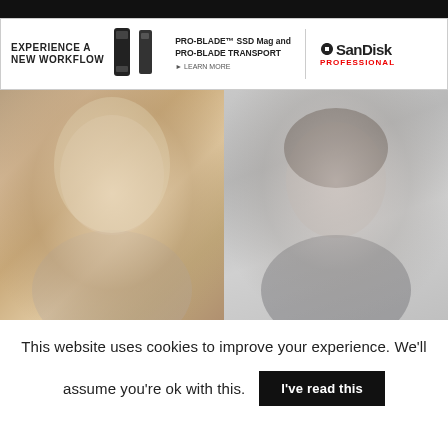[Figure (photo): SanDisk Professional advertisement banner featuring two dark rectangular SSD devices, with text 'EXPERIENCE A NEW WORKFLOW', 'PRO-BLADE SSD Mag and PRO-BLADE TRANSPORT', '> LEARN MORE', and the SanDisk Professional logo with red text.]
[Figure (photo): Two portrait photos side by side: left shows a young woman with long blonde wavy hair wearing a denim jacket against a dark bokeh background; right shows a woman with dark hair pulled back wearing a dark grey top against a light grey background.]
This website uses cookies to improve your experience. We'll assume you're ok with this.
I've read this